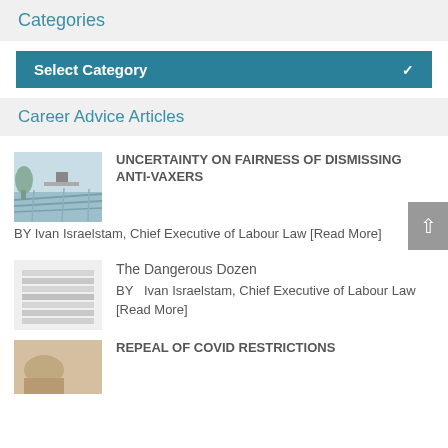Categories
Select Category
Career Advice Articles
UNCERTAINTY ON FAIRNESS OF DISMISSING ANTI-VAXERS BY Ivan Israelstam, Chief Executive of Labour Law [Read More]
The Dangerous Dozen BY Ivan Israelstam, Chief Executive of Labour Law [Read More]
REPEAL OF COVID RESTRICTIONS